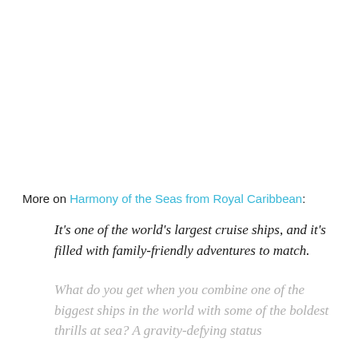More on Harmony of the Seas from Royal Caribbean:
It's one of the world's largest cruise ships, and it's filled with family-friendly adventures to match.
What do you get when you combine one of the biggest ships in the world with some of the boldest thrills at sea? A gravity-defying status